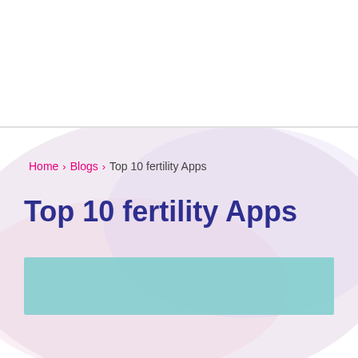[Figure (logo): Hormone Health logo with pink 'HORMONE' text above dark blue bold 'HEALTH' text, with a pink underline]
[Figure (illustration): Hamburger menu icon with three pink horizontal lines on the right side of the header]
[Figure (illustration): Soft pink and lavender blob/cloud background shape behind the breadcrumb and title area]
Home › Blogs › Top 10 fertility Apps
Top 10 fertility Apps
[Figure (illustration): Solid teal/turquoise rectangular banner below the title]